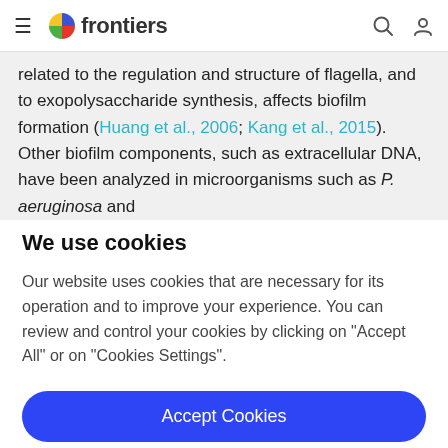frontiers — navigation bar with hamburger menu, logo, search and user icons
related to the regulation and structure of flagella, and to exopolysaccharide synthesis, affects biofilm formation (Huang et al., 2006; Kang et al., 2015). Other biofilm components, such as extracellular DNA, have been analyzed in microorganisms such as P. aeruginosa and
We use cookies
Our website uses cookies that are necessary for its operation and to improve your experience. You can review and control your cookies by clicking on "Accept All" or on "Cookies Settings".
Accept Cookies
Cookies Settings